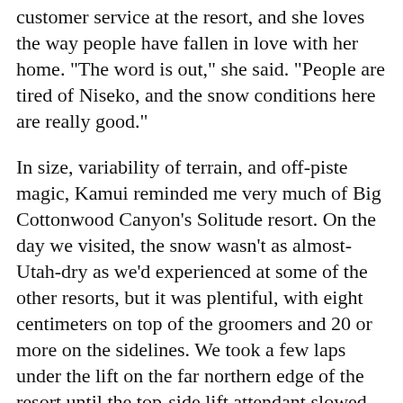customer service at the resort, and she loves the way people have fallen in love with her home. "The word is out," she said. "People are tired of Niseko, and the snow conditions here are really good."
In size, variability of terrain, and off-piste magic, Kamui reminded me very much of Big Cottonwood Canyon's Solitude resort. On the day we visited, the snow wasn't as almost-Utah-dry as we'd experienced at some of the other resorts, but it was plentiful, with eight centimeters on top of the groomers and 20 or more on the sidelines. We took a few laps under the lift on the far northern edge of the resort until the top-side lift attendant slowed down the chairs as we approached, ran over to drop a gate, and ran back in time to offer us a bow as we passed.